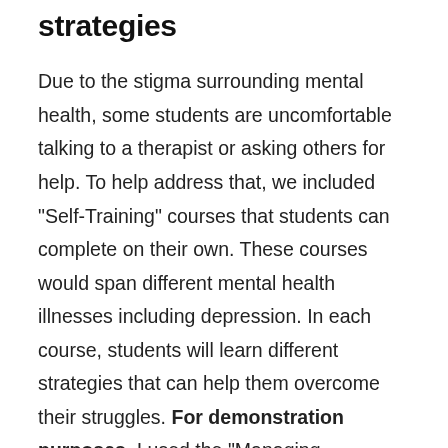strategies
Due to the stigma surrounding mental health, some students are uncomfortable talking to a therapist or asking others for help. To help address that, we included "Self-Training" courses that students can complete on their own. These courses would span different mental health illnesses including depression. In each course, students will learn different strategies that can help them overcome their struggles. For demonstration purposes, I used the "Managing Depression" course offered by the Big White Wall, an excellent resource for many mental health